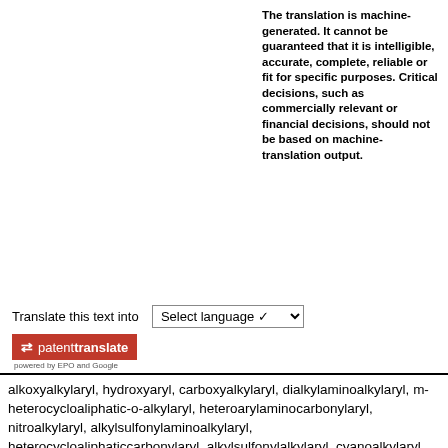The translation is machine-generated. It cannot be guaranteed that it is intelligible, accurate, complete, reliable or fit for specific purposes. Critical decisions, such as commercially relevant or financial decisions, should not be based on machine-translation output.
Translate this text into [Select language]
[Figure (logo): patenttranslate logo — red rectangle with white arrows and text 'patenttranslate', subtitle 'powered by EPO and Google']
alkoxyalkylaryl, hydroxyaryl, carboxyalkylaryl, dialkylaminoalkylaryl, m-heterocycloaliphatic-o-alkylaryl, heteroarylaminocarbonylaryl, nitroalkylaryl, alkylsulfonylaminoalkylaryl, heterocycloaliphaticcarbonylaryl, alkylsulfonylalkylaryl, cyanoalkylaryl,